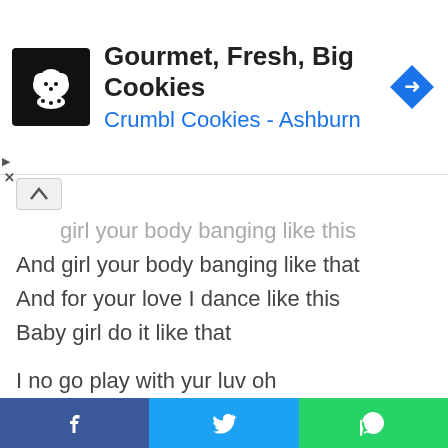[Figure (infographic): Advertisement banner for Crumbl Cookies - Ashburn with cookie logo, text 'Gourmet, Fresh, Big Cookies', subtitle 'Crumbl Cookies - Ashburn', and a navigation arrow icon. Play and X buttons on the left side.]
girl your body banging like this
And girl your body banging like that
And for your love I dance like this
Baby girl do it like that
I no go play with yur luv oh
I no go do you like that
My baby I know how e start
Forver I go dey by your side oh
Amaka garu
Oya chop my money o
I no go do you jukpa o
[Figure (infographic): Footer with three social share buttons: Facebook (blue), Twitter (light blue), WhatsApp (green)]